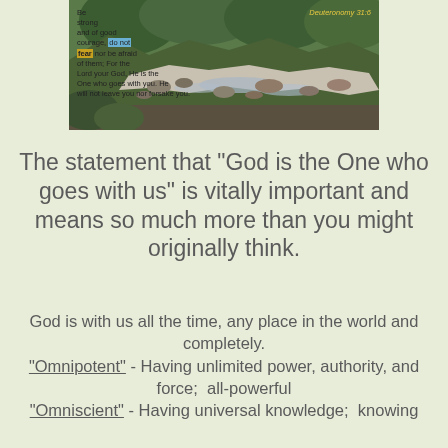[Figure (photo): Photograph of a rocky mountain stream with forested hillside. Text overlay reads: 'Be strong and of good courage, do not fear nor be afraid of them; For the Lord your God, He is the One who goes with you. He will not leave you nor forsake you.' with reference 'Deuteronomy 31:6' in the top right.]
The statement that "God is the One who goes with us" is vitally important and means so much more than you might originally think.
God is with us all the time, any place in the world and completely.
"Omnipotent" - Having unlimited power, authority, and force;  all-powerful
"Omniscient" - Having universal knowledge;  knowing